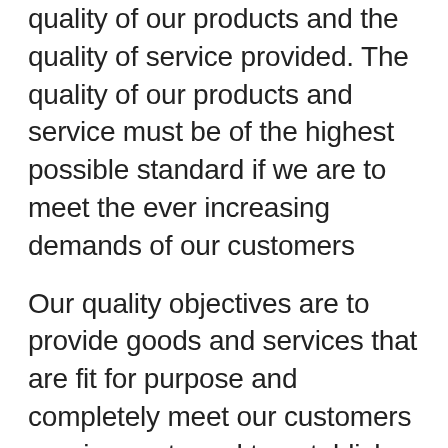quality of our products and the quality of service provided. The quality of our products and service must be of the highest possible standard if we are to meet the ever increasing demands of our customers
Our quality objectives are to provide goods and services that are fit for purpose and completely meet our customers requirements and to establish and maintain a quality management system which meets the requirements of ISO 9001/2015 and achieve and retain status as a registered firm of